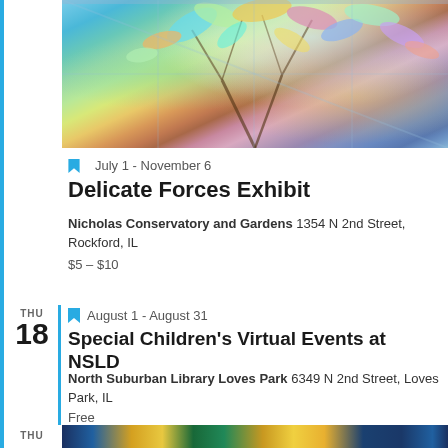[Figure (photo): Colorful iridescent art installation with leaf-like glass or resin pieces hanging from tree branches inside a conservatory with glass ceiling]
July 1 - November 6
Delicate Forces Exhibit
Nicholas Conservatory and Gardens 1354 N 2nd Street, Rockford, IL
$5 – $10
THU 18
August 1 - August 31
Special Children's Virtual Events at NSLD
North Suburban Library Loves Park 6349 N 2nd Street, Loves Park, IL
Free
THU
[Figure (photo): Partial view of another event image at the bottom of the page, appears to be a colorful performance or event]